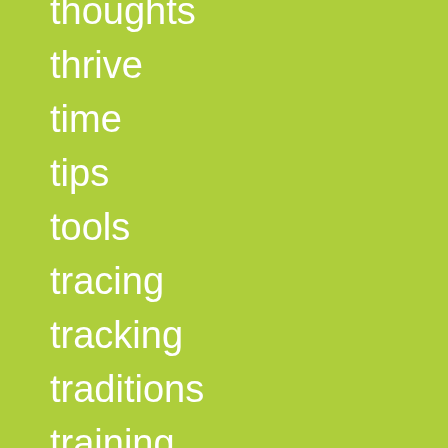thoughts
thrive
time
tips
tools
tracing
tracking
traditions
training